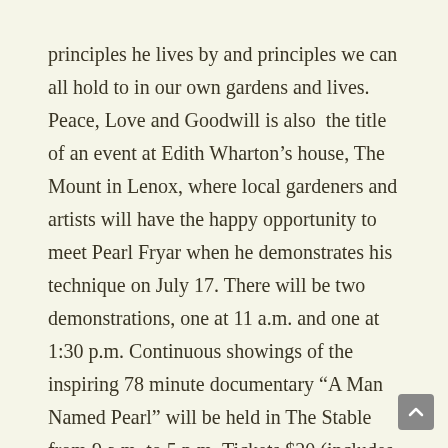principles he lives by and principles we can all hold to in our own gardens and lives. Peace, Love and Goodwill is also  the title of an event at Edith Wharton's house, The Mount in Lenox, where local gardeners and artists will have the happy opportunity to meet Pearl Fryar when he demonstrates his technique on July 17. There will be two demonstrations, one at 11 a.m. and one at 1:30 p.m. Continuous showings of the inspiring 78 minute documentary “A Man Named Pearl” will be held in The Stable from 9 a.m. to 5 p.m. Tickets $20 (includes admission to The Mount) are available online at EdithWharton.org or by phone at 800-838-3006. Proceeds will benefit the Lift Ev’ry Voice Festival. A reception featuring a topiary and fine wine auction will be held from 5 p.m. to 7 p.m. Tickets for the reception are $55.